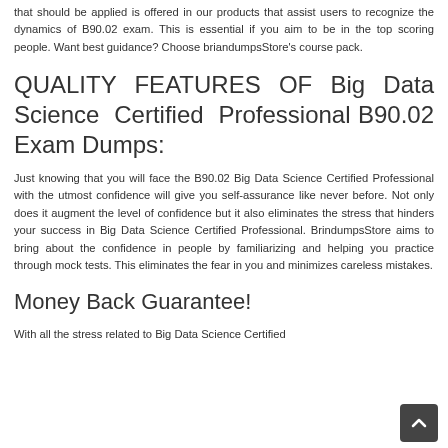that should be applied is offered in our products that assist users to recognize the dynamics of B90.02 exam. This is essential if you aim to be in the top scoring people. Want best guidance? Choose briandumpsStore's course pack.
QUALITY FEATURES OF Big Data Science Certified Professional B90.02 Exam Dumps:
Just knowing that you will face the B90.02 Big Data Science Certified Professional with the utmost confidence will give you self-assurance like never before. Not only does it augment the level of confidence but it also eliminates the stress that hinders your success in Big Data Science Certified Professional. BrindumpsStore aims to bring about the confidence in people by familiarizing and helping you practice through mock tests. This eliminates the fear in you and minimizes careless mistakes.
Money Back Guarantee!
With all the stress related to Big Data Science Certified